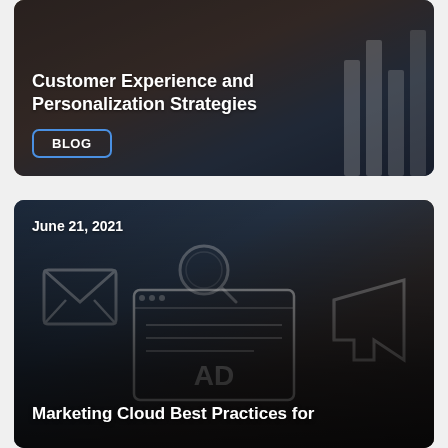[Figure (screenshot): Blog card with dark background showing bar chart imagery, title 'Customer Experience and Personalization Strategies' and a BLOG badge with blue border]
Customer Experience and Personalization Strategies
BLOG
[Figure (screenshot): Blog card with dark blue-brown background showing digital advertising imagery with email, search, AD screen and megaphone icons, dated June 21, 2021]
June 21, 2021
Marketing Cloud Best Practices for